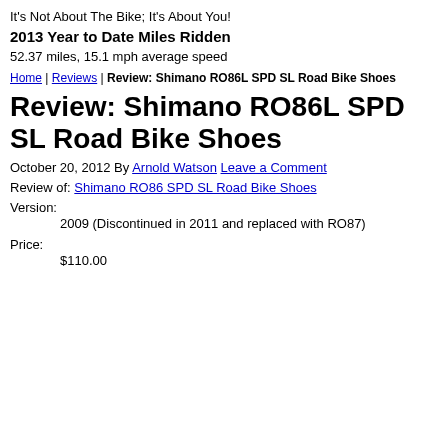It's Not About The Bike; It's About You!
2013 Year to Date Miles Ridden
52.37 miles, 15.1 mph average speed
Home | Reviews | Review: Shimano RO86L SPD SL Road Bike Shoes
Review: Shimano RO86L SPD SL Road Bike Shoes
October 20, 2012 By Arnold Watson Leave a Comment
Review of: Shimano RO86 SPD SL Road Bike Shoes
Version: 2009 (Discontinued in 2011 and replaced with RO87)
Price: $110.00